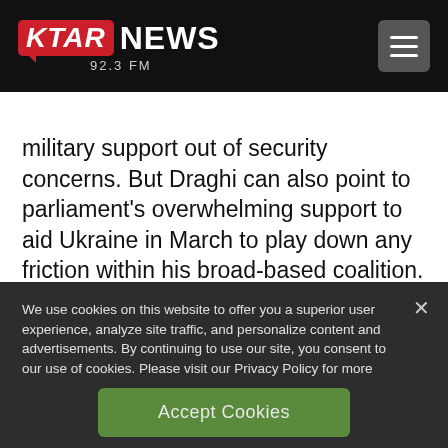KTAR NEWS 92.3 FM
military support out of security concerns. But Draghi can also point to parliament's overwhelming support to aid Ukraine in March to play down any friction within his broad-based coalition.
We use cookies on this website to offer you a superior user experience, analyze site traffic, and personalize content and advertisements. By continuing to use our site, you consent to our use of cookies. Please visit our Privacy Policy for more information.
Accept Cookies